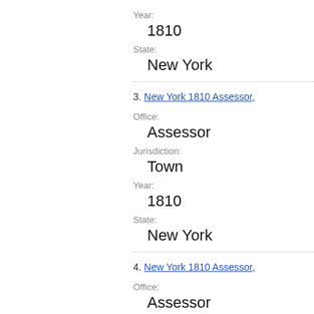Year:
1810
State:
New York
3. New York 1810 Assessor,
Office:
Assessor
Jurisdiction:
Town
Year:
1810
State:
New York
4. New York 1810 Assessor,
Office:
Assessor
Jurisdiction: